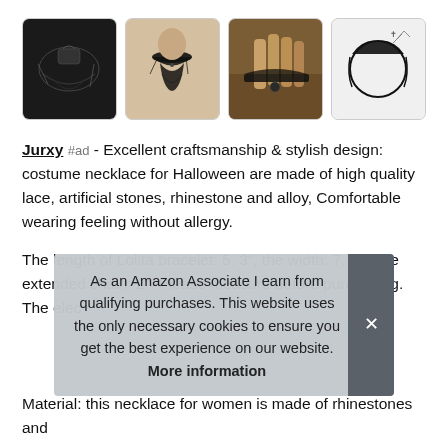[Figure (photo): Four product thumbnail images of gothic black lace jewelry items: necklace/choker set, choker on mannequin, lace bracelet/glove on hand, and hair/headpiece accessory]
Jurxy #ad - Excellent craftsmanship & stylish design: costume necklace for Halloween are made of high quality lace, artificial stones, rhinestone and alloy, Comfortable wearing feeling without allergy.
The length of Lolita bracelet: 5. 3", the width: 7. 5". The extended chain: 2". Please measure before purchasing. The elec
As an Amazon Associate I earn from qualifying purchases. This website uses the only necessary cookies to ensure you get the best experience on our website. More information
Material: this necklace for women is made of rhinestones and